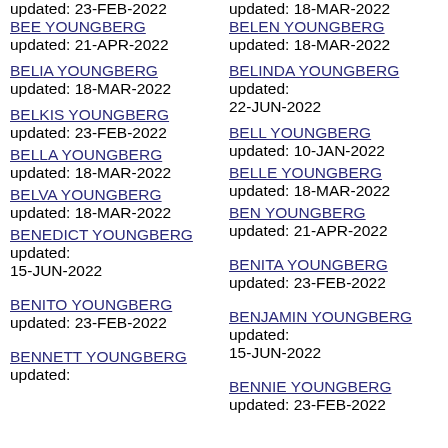updated: 23-FEB-2022
BEE YOUNGBERG updated: 21-APR-2022
updated: 18-MAR-2022
BELEN YOUNGBERG updated: 18-MAR-2022
BELIA YOUNGBERG updated: 18-MAR-2022
BELINDA YOUNGBERG updated: 22-JUN-2022
BELKIS YOUNGBERG updated: 23-FEB-2022
BELL YOUNGBERG updated: 10-JAN-2022
BELLA YOUNGBERG updated: 18-MAR-2022
BELLE YOUNGBERG updated: 18-MAR-2022
BELVA YOUNGBERG updated: 18-MAR-2022
BEN YOUNGBERG updated: 21-APR-2022
BENEDICT YOUNGBERG updated: 15-JUN-2022
BENITA YOUNGBERG updated: 23-FEB-2022
BENITO YOUNGBERG updated: 23-FEB-2022
BENJAMIN YOUNGBERG updated: 15-JUN-2022
BENNETT YOUNGBERG updated:
BENNIE YOUNGBERG updated: 23-FEB-2022